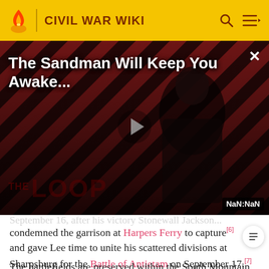CIVIL WAR WIKI
[Figure (screenshot): Video advertisement overlay showing 'The Sandman Will Keep You Awake...' with a dramatic figure, play button, THE LOOP branding, and NaN:NaN timestamp in the bottom right corner.]
condemned the garrison at Harpers Ferry to capture[6] and gave Lee time to unite his scattered divisions at Sharpsburg for the Battle of Antietam on September 17.[7]
The battlefields are preserved within the South Mountain